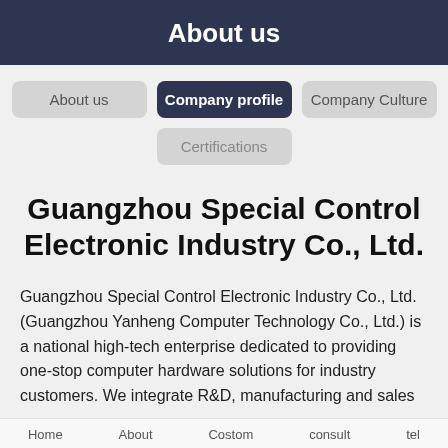About us
About us | Company profile | Company Culture | Certifications
Guangzhou Special Control Electronic Industry Co., Ltd.
Guangzhou Special Control Electronic Industry Co., Ltd. (Guangzhou Yanheng Computer Technology Co., Ltd.) is a national high-tech enterprise dedicated to providing one-stop computer hardware solutions for industry customers. We integrate R&D, manufacturing and sales
Home   About   Costom   consult   tel